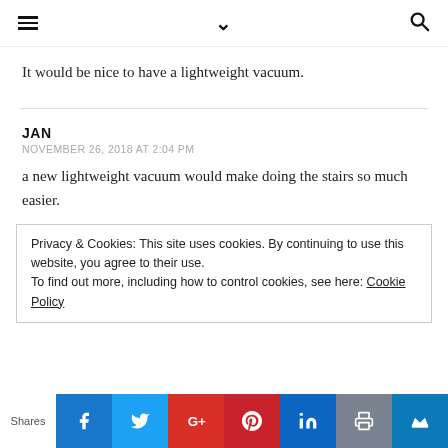≡  ∨  🔍
It would be nice to have a lightweight vacuum.
JAN
NOVEMBER 26, 2018 AT 2:04 PM
a new lightweight vacuum would make doing the stairs so much easier.
Privacy & Cookies: This site uses cookies. By continuing to use this website, you agree to their use. To find out more, including how to control cookies, see here: Cookie Policy
Shares | Facebook | Twitter | Google+ | Pinterest | LinkedIn | Print | Crown